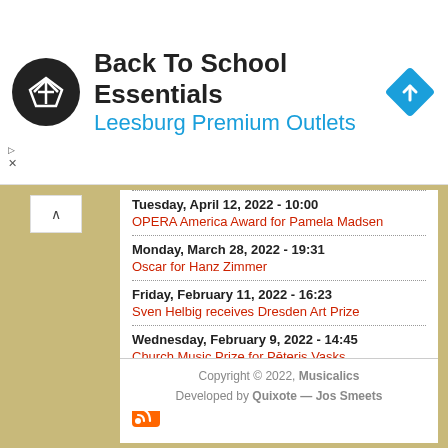[Figure (logo): Ad banner: Back To School Essentials - Leesburg Premium Outlets with circular logo and map direction icon]
Tuesday, April 12, 2022 - 10:00
OPERA America Award for Pamela Madsen
Monday, March 28, 2022 - 19:31
Oscar for Hanz Zimmer
Friday, February 11, 2022 - 16:23
Sven Helbig receives Dresden Art Prize
Wednesday, February 9, 2022 - 14:45
Church Music Prize for Pēteris Vasks
more
[Figure (logo): RSS feed orange icon]
Copyright © 2022, Musicalics
Developed by Quixote — Jos Smeets